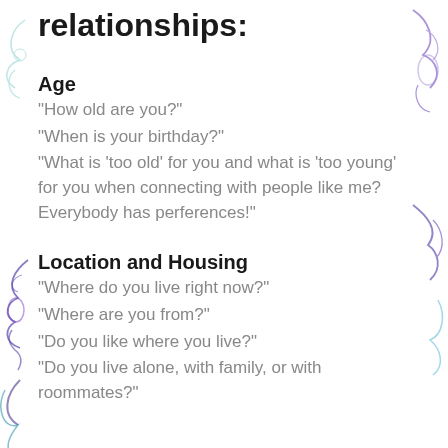relationships:
Age
"How old are you?"
"When is your birthday?"
"What is 'too old' for you and what is 'too young' for you when connecting with people like me? Everybody has perferences!"
Location and Housing
"Where do you live right now?"
"Where are you from?"
"Do you like where you live?"
"Do you live alone, with family, or with roommates?"